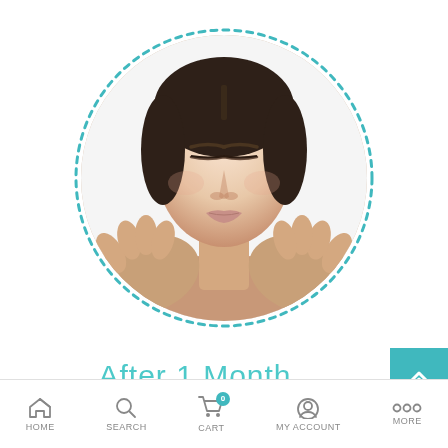[Figure (photo): Woman with closed eyes holding her face with both hands, framed inside a teal dotted circle on white background]
After 1 Month
HOME  SEARCH  CART  MY ACCOUNT  MORE